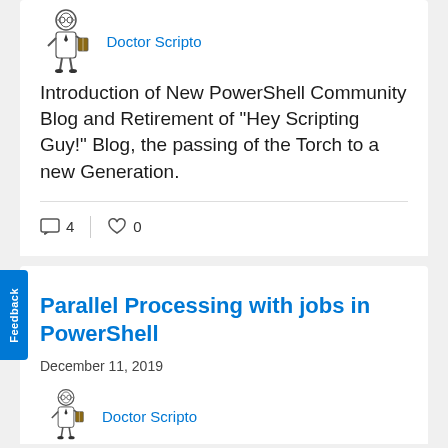[Figure (illustration): Doctor Scripto cartoon avatar — a cartoon scientist/doctor character holding a book]
Doctor Scripto
Introduction of New PowerShell Community Blog and Retirement of "Hey Scripting Guy!" Blog, the passing of the Torch to a new Generation.
4 comments, 0 likes
Parallel Processing with jobs in PowerShell
December 11, 2019
[Figure (illustration): Doctor Scripto cartoon avatar]
Doctor Scripto